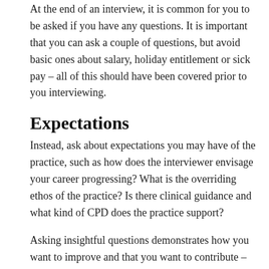At the end of an interview, it is common for you to be asked if you have any questions. It is important that you can ask a couple of questions, but avoid basic ones about salary, holiday entitlement or sick pay – all of this should have been covered prior to you interviewing.
Expectations
Instead, ask about expectations you may have of the practice, such as how does the interviewer envisage your career progressing? What is the overriding ethos of the practice? Is there clinical guidance and what kind of CPD does the practice support?
Asking insightful questions demonstrates how you want to improve and that you want to contribute – not only clinically, but also to the team as a whole.